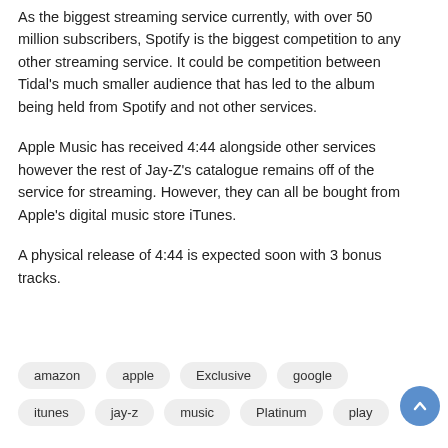As the biggest streaming service currently, with over 50 million subscribers, Spotify is the biggest competition to any other streaming service. It could be competition between Tidal's much smaller audience that has led to the album being held from Spotify and not other services.
Apple Music has received 4:44 alongside other services however the rest of Jay-Z's catalogue remains off of the service for streaming. However, they can all be bought from Apple's digital music store iTunes.
A physical release of 4:44 is expected soon with 3 bonus tracks.
amazon
apple
Exclusive
google
itunes
jay-z
music
Platinum
play